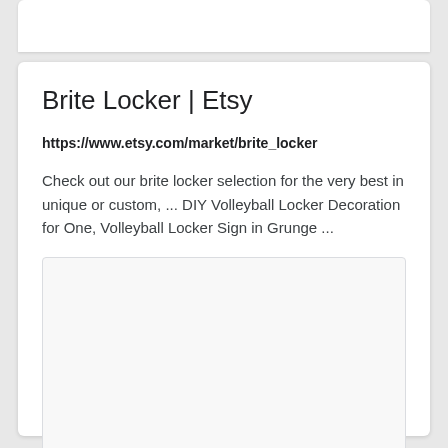Brite Locker | Etsy
https://www.etsy.com/market/brite_locker
Check out our brite locker selection for the very best in unique or custom, ... DIY Volleyball Locker Decoration for One, Volleyball Locker Sign in Grunge ...
[Figure (other): Empty white image placeholder box with light border]